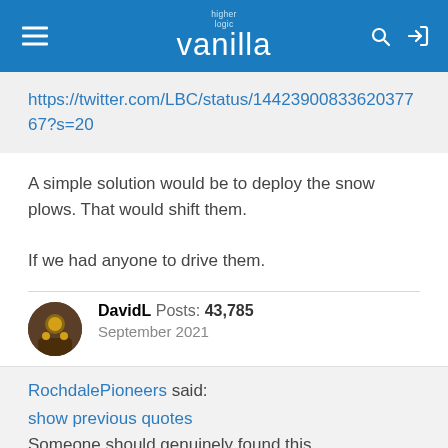higher logic vanilla
https://twitter.com/LBC/status/1442390083362037767?s=20
A simple solution would be to deploy the snow plows. That would shift them.

If we had anyone to drive them.
DavidL  Posts: 43,785
September 2021
RochdalePioneers said:
show previous quotes
Someone should genuinely found this